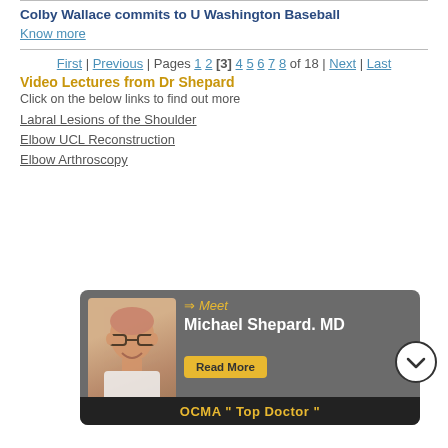Colby Wallace commits to U Washington Baseball
Know more
First | Previous | Pages 1 2 [3] 4 5 6 7 8 of 18 | Next | Last
Video Lectures from Dr Shepard
Click on the below links to find out more
Labral Lesions of the Shoulder
Elbow UCL Reconstruction
Elbow Arthroscopy
[Figure (photo): Promotional banner for Dr. Michael Shepard MD with photo, 'Meet Michael Shepard MD' text, Read More button, and OCMA Top Doctor bar at bottom]